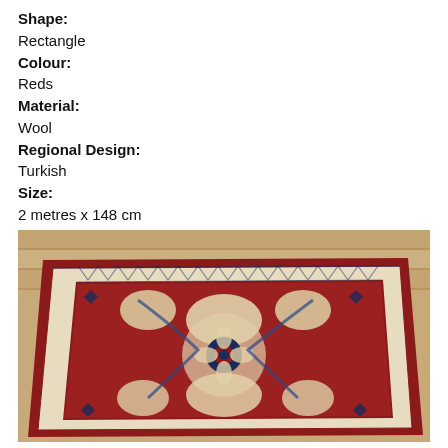Shape:
Rectangle
Colour:
Reds
Material:
Wool
Regional Design:
Turkish
Size:
2 metres x 148 cm
[Figure (photo): Photograph of a Turkish wool rug with red background and cream/beige floral medallion pattern with navy blue accents, photographed from above on a wooden floor.]